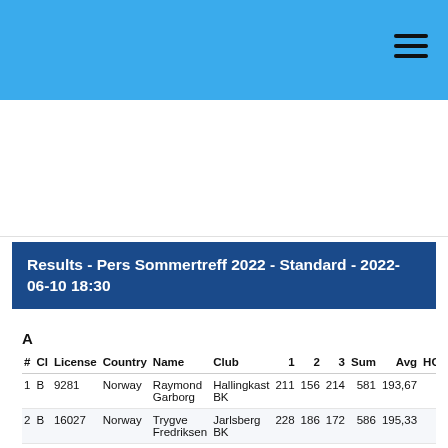Results - Pers Sommertreff 2022 - Standard - 2022-06-10 18:30
| # | Cl | License | Country | Name | Club | 1 | 2 | 3 | Sum | Avg | HC |
| --- | --- | --- | --- | --- | --- | --- | --- | --- | --- | --- | --- |
| 1 | B | 9281 | Norway | Raymond Garborg | Hallingkast BK | 211 | 156 | 214 | 581 | 193,67 |  |
| 2 | B | 16027 | Norway | Trygve Fredriksen | Jarlsberg BK | 228 | 186 | 172 | 586 | 195,33 |  |
| 3 | B | ... | Norway | Stig ... | Jarlsberg ... | ... | ... | ... | ... | ... |  |